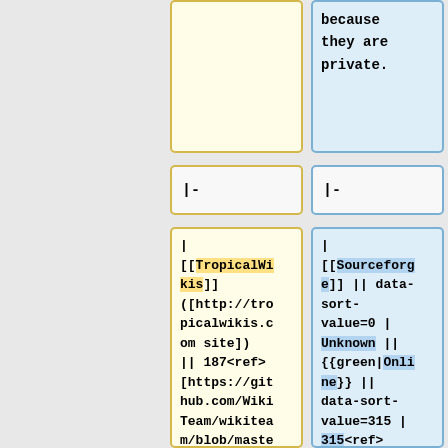because they are private.
|-
|-
| [[TropicalWikis]] ([http://tropicalwikis.com site]) || 187<ref>[https://github.com/WikiTeam/wikiteam/blob/master/listsofwikis/mediawiki/tropicalwik is.com tropicalwiki
| [[Sourceforge]] || data-sort-value=0 | Unknown || {{green|Online}} || data-sort-value=315 | 315<ref>[https://archive.org/search.php?query=sourceforge%20subj